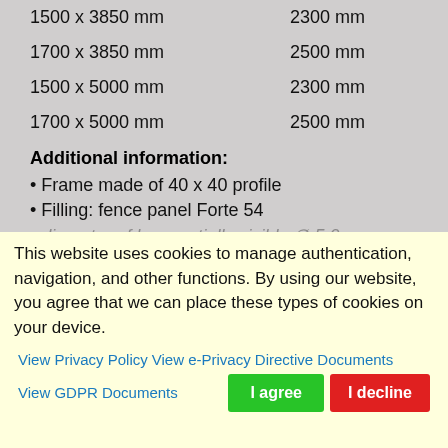| Dimension | Height |
| --- | --- |
| 1500 x 3850 mm | 2300 mm |
| 1700 x 3850 mm | 2500 mm |
| 1500 x 5000 mm | 2300 mm |
| 1700 x 5000 mm | 2500 mm |
Additional information:
• Frame made of 40 x 40 profile
• Filling: fence panel Forte 54
• [diameter of bar, partially cut off]
This website uses cookies to manage authentication, navigation, and other functions. By using our website, you agree that we can place these types of cookies on your device.
View Privacy Policy  View e-Privacy Directive Documents
View GDPR Documents
I agree
I decline